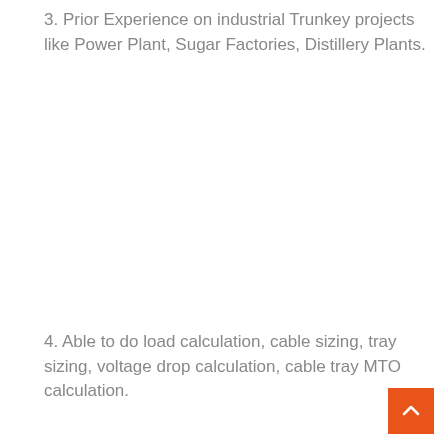3. Prior Experience on industrial Trunkey projects like Power Plant, Sugar Factories, Distillery Plants.
4. Able to do load calculation, cable sizing, tray sizing, voltage drop calculation, cable tray MTO calculation.